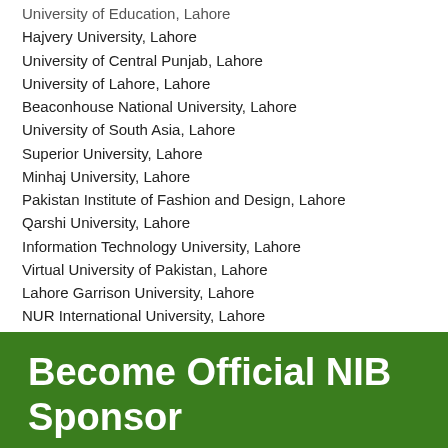University of Education, Lahore
Hajvery University, Lahore
University of Central Punjab, Lahore
University of Lahore, Lahore
Beaconhouse National University, Lahore
University of South Asia, Lahore
Superior University, Lahore
Minhaj University, Lahore
Pakistan Institute of Fashion and Design, Lahore
Qarshi University, Lahore
Information Technology University, Lahore
Virtual University of Pakistan, Lahore
Lahore Garrison University, Lahore
NUR International University, Lahore
NUR International University, Lahore
University of Home Economics Lahore, Lahore
Become Official NIB Sponsor